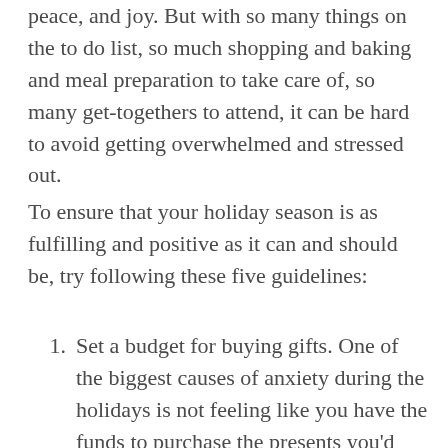peace, and joy. But with so many things on the to do list, so much shopping and baking and meal preparation to take care of, so many get-togethers to attend, it can be hard to avoid getting overwhelmed and stressed out.
To ensure that your holiday season is as fulfilling and positive as it can and should be, try following these five guidelines:
Set a budget for buying gifts. One of the biggest causes of anxiety during the holidays is not feeling like you have the funds to purchase the presents you'd like to. Don't spend more than your limit or buy items that will take a year to pay off. Happiness comes